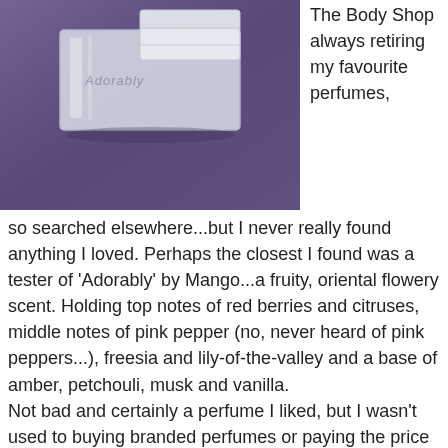[Figure (photo): Close-up photo of a clear/frosted perfume bottle cap against a purple fabric background, with 'Adorably' text partially visible on the bottle.]
The Body Shop always retiring my favourite perfumes, so searched elsewhere...but I never really found anything I loved. Perhaps the closest I found was a tester of 'Adorably' by Mango...a fruity, oriental flowery scent. Holding top notes of red berries and citruses, middle notes of pink pepper (no, never heard of pink peppers...), freesia and lily-of-the-valley and a base of amber, petchouli, musk and vanilla.
Not bad and certainly a perfume I liked, but I wasn't used to buying branded perfumes or paying the price for them! My Mum had a penchant for Chanel No5...yes, the same one linked to Marilyn Monroe...and Mum had a nice 5ml bottle. So guess which of her cute, 5 or 6-year-old daughters decided to wear the whole lot at once? Yes, the whole bottle...um, that would be me...not too young to be in the wrong, was I?